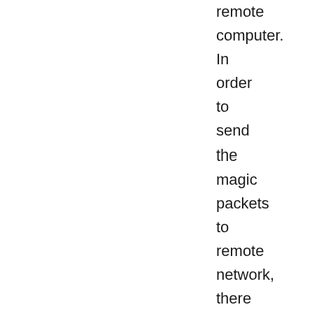remote computer. In order to send the magic packets to remote network, there must be a running device connected